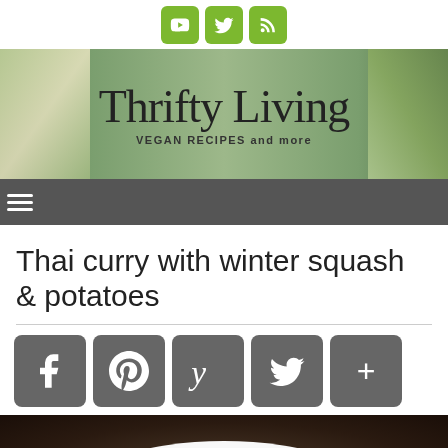Thrifty Living — VEGAN RECIPES and more
Thai curry with winter squash & potatoes
[Figure (screenshot): Social share buttons row: Facebook, Pinterest, Yummly, Twitter, More (+)]
[Figure (photo): Food photo: Thai curry with winter squash and potatoes served in a white bowl, with green herbs on top, dark background]